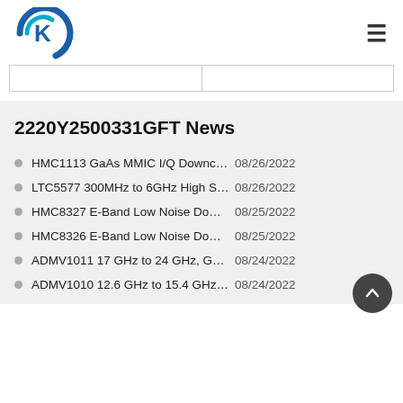K logo and navigation hamburger menu
|  |  |
| --- | --- |
|  |  |
2220Y2500331GFT News
HMC1113 GaAs MMIC I/Q Downconverter, 1... 08/26/2022
LTC5577 300MHz to 6GHz High Signal Leve... 08/26/2022
HMC8327 E-Band Low Noise Downconverte... 08/25/2022
HMC8326 E-Band Low Noise Downconverte... 08/25/2022
ADMV1011 17 GHz to 24 GHz, GaAs, MMIC... 08/24/2022
ADMV1010 12.6 GHz to 15.4 GHz, GaAs, M... 08/24/2022